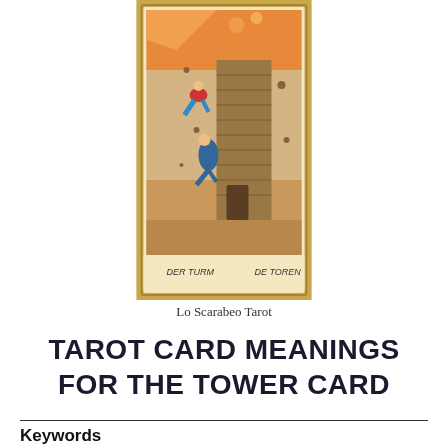[Figure (illustration): Tarot card image showing The Tower card from Lo Scarabeo Tarot. Two figures fall from a crumbling brick tower amid fire, smoke, and debris. Text at the bottom reads 'DER TURM' on the left and 'DE TOREN' on the right. The card has a decorative gold border.]
Lo Scarabeo Tarot
TAROT CARD MEANINGS FOR THE TOWER CARD
Keywords